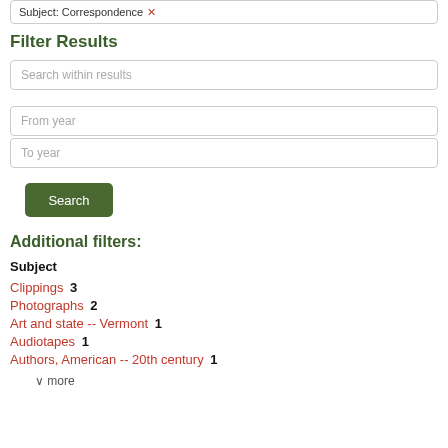Subject: Correspondence ×
Filter Results
Search within results
From year
To year
Search
Additional filters:
Subject
Clippings 3
Photographs 2
Art and state -- Vermont 1
Audiotapes 1
Authors, American -- 20th century 1
v more